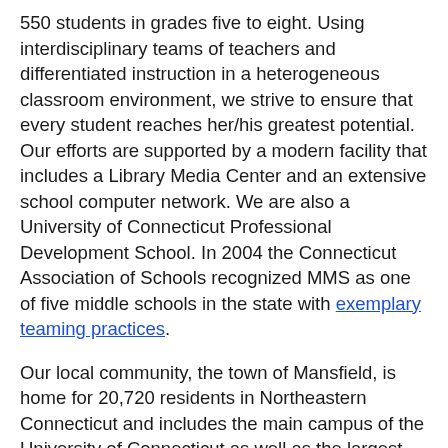550 students in grades five to eight. Using interdisciplinary teams of teachers and differentiated instruction in a heterogeneous classroom environment, we strive to ensure that every student reaches her/his greatest potential. Our efforts are supported by a modern facility that includes a Library Media Center and an extensive school computer network. We are also a University of Connecticut Professional Development School. In 2004 the Connecticut Association of Schools recognized MMS as one of five middle schools in the state with exemplary teaming practices.
Our local community, the town of Mansfield, is home for 20,720 residents in Northeastern Connecticut and includes the main campus of the University of Connecticut as well as the largest library in New England. Mansfield is a K-8 district comprising three elementary schools and one middle school, with students attending E.O. Smith High School (Regional School District #19) or Windham Vocational Technical School for grades 9-12.